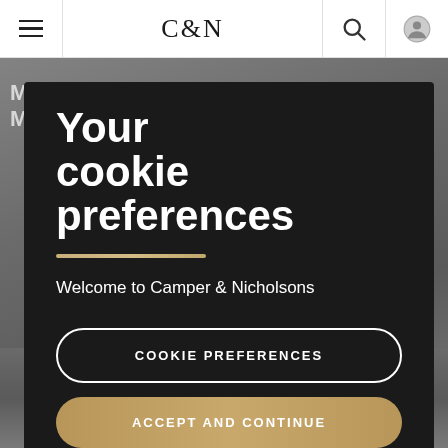C&N navigation bar with hamburger menu, logo C&N, search icon, user icon
[Figure (screenshot): Grayscale background photo of an interior space with people, partially visible behind the modal overlay]
Your cookie preferences
Welcome to Camper & Nicholsons
COOKIE PREFERENCES
ACCEPT AND CONTINUE